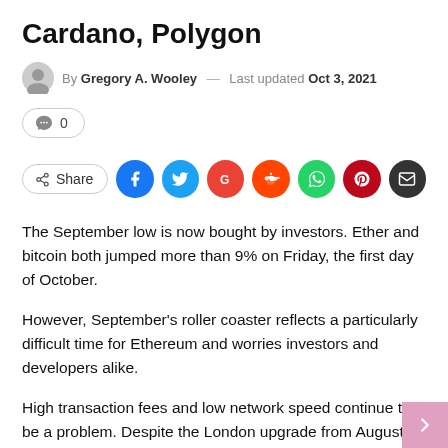Cardano, Polygon
By Gregory A. Wooley — Last updated Oct 3, 2021
💬 0
Share
The September low is now bought by investors. Ether and bitcoin both jumped more than 9% on Friday, the first day of October.
However, September's roller coaster reflects a particularly difficult time for Ethereum and worries investors and developers alike.
High transaction fees and low network speed continue to be a problem. Despite the London upgrade from August, it had little